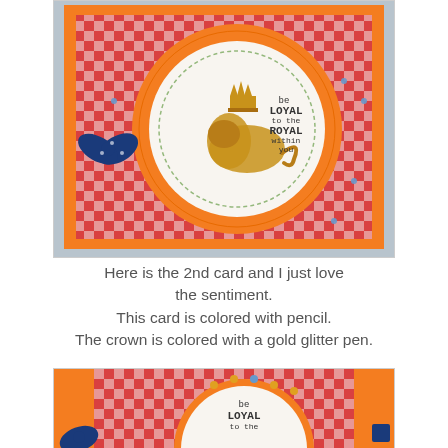[Figure (photo): Top-down photo of a handmade greeting card with red and white gingham patterned paper, orange border, large orange scalloped circle, white circle center with a stamped crowned lion and text 'be LOYAL to the ROYAL within you', with a small navy blue polka-dot bow on the left side and rhinestone accents.]
Here is the 2nd card and I just love the sentiment.
This card is colored with pencil.
The crown is colored with a gold glitter pen.
[Figure (photo): Close-up photo of the same handmade card showing detail of the orange scalloped border with gold rhinestones, red gingham background, and the white oval stamped image with a crowned lion and text 'be LOYAL to the ROYAL within you'.]